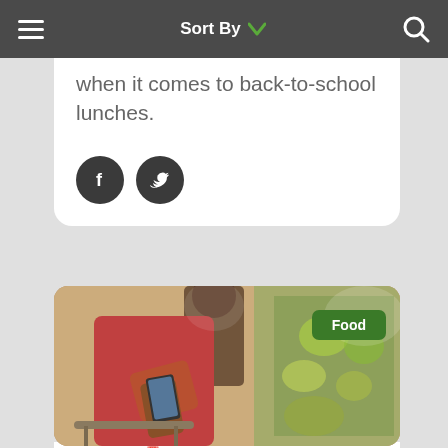Sort By
when it comes to back-to-school lunches.
[Figure (illustration): Facebook and Twitter social sharing buttons (dark circular icons)]
[Figure (photo): Man in red shirt holding a phone/tablet while pushing a shopping cart in a grocery store produce aisle. Green 'Food' badge in top right corner.]
Food